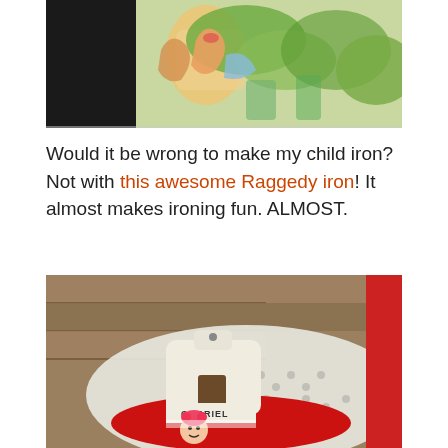[Figure (photo): Close-up of a colorful illustrated cup or mug featuring cartoon-style artwork, with dark background on left side.]
Would it be wrong to make my child iron? Not with this awesome Raggedy iron! It almost makes ironing fun. ALMOST.
[Figure (photo): A vintage Gabriel toy iron with cream/white body and red base sitting on white lace fabric, with wooden boards in background. Has Raggedy Ann branding visible.]